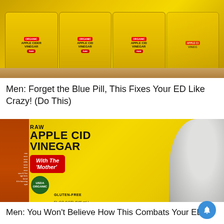[Figure (photo): Multiple bottles of Bragg Organic Apple Cider Vinegar with yellow labels arranged in a row on a wooden surface]
Men: Forget the Blue Pill, This Fixes Your ED Like Crazy! (Do This)
[Figure (photo): Close-up of a large Bragg Raw Apple Cider Vinegar bottle with yellow label showing 'With The Mother', USDA Organic seal, Gluten Free text, next to a white cup]
Men: You Won't Believe How This Combats Your ED (Try Tonight)